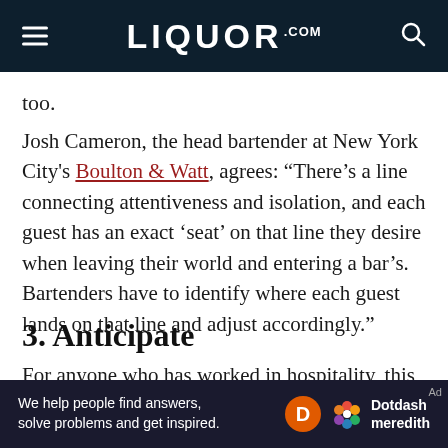LIQUOR.COM
too.
Josh Cameron, the head bartender at New York City's Boulton & Watt, agrees: “There’s a line connecting attentiveness and isolation, and each guest has an exact ‘seat’ on that line they desire when leaving their world and entering a bar’s. Bartenders have to identify where each guest lands on that line and adjust accordingly.”
3. Anticipate
For anyone who has worked in hospitality, this is
We help people find answers, solve problems and get inspired. Dotdash meredith